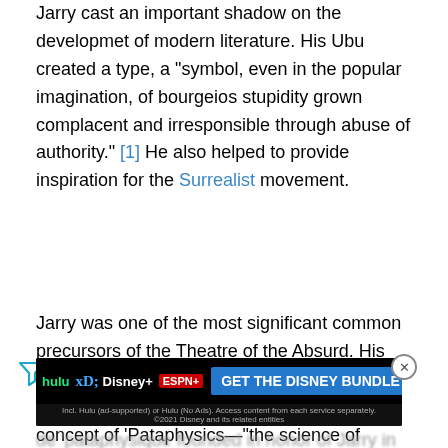Jarry cast an important shadow on the developmet of modern literature. His Ubu created a type, a "symbol, even in the popular imagination, of bourgeios stupidity grown complacent and irresponsible through abuse of authority." [1] He also helped to provide inspiration for the Surrealist movement.
Jarry was one of the most significant common precursors of the Theatre of the Absurd. His wild, irreverent, and lascivious Ubu plays, which scandalized Paris in the 1890s and the concept of 'Pataphysics—"the science of imaginary solutions"—first presented in Jarry's Gestes et opinions du docteur Faustroll, pataphysicien (Exploits and Opinions of Dr. Faustroll, Pataphysician) was inspirational to many later Absurdists, some of whom joined the Collège de 'pataphysique founded in honor of Jarry in 1948 (both Eugene... the title Transcé... ique). The Alfred Jarry theatre, founded by Antonin Artaud and Roger Vitrac, housed several Absurdist plays...
[Figure (screenshot): Advertisement banner for The Disney Bundle (Hulu, Disney+, ESPN+) with dark background, logos, and blue call-to-action button.]